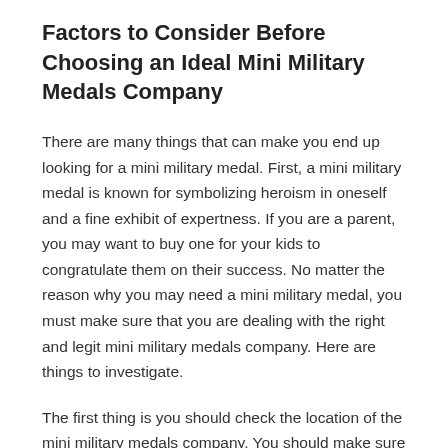Factors to Consider Before Choosing an Ideal Mini Military Medals Company
There are many things that can make you end up looking for a mini military medal. First, a mini military medal is known for symbolizing heroism in oneself and a fine exhibit of expertness. If you are a parent, you may want to buy one for your kids to congratulate them on their success. No matter the reason why you may need a mini military medal, you must make sure that you are dealing with the right and legit mini military medals company. Here are things to investigate.
The first thing is you should check the location of the mini military medals company. You should make sure that you are comfortable with the amount of set for the services. A lot of people are fortunate enough to own a